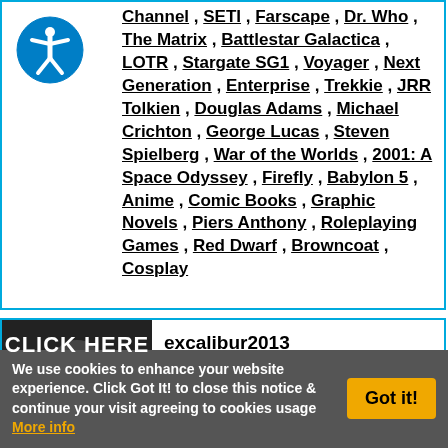[Figure (logo): Blue circle with white accessibility icon (person with arms/legs spread)]
Channel , SETI , Farscape , Dr. Who , The Matrix , Battlestar Galactica , LOTR , Stargate SG1 , Voyager , Next Generation , Enterprise , Trekkie , JRR Tolkien , Douglas Adams , Michael Crichton , George Lucas , Steven Spielberg , War of the Worlds , 2001: A Space Odyssey , Firefly , Babylon 5 , Anime , Comic Books , Graphic Novels , Piers Anthony , Roleplaying Games , Red Dwarf , Browncoat , Cosplay
[Figure (photo): Black and white photo of a person in a hat with CLICK HERE text overlay]
excalibur2013
Cleveland, TN, USA
Log In! See More Members In
We use cookies to enhance your website experience. Click Got It! to close this notice & continue your visit agreeing to cookies usage More info
Got it!